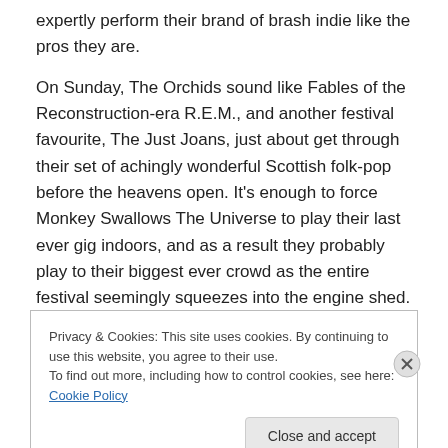expertly perform their brand of brash indie like the pros they are.
On Sunday, The Orchids sound like Fables of the Reconstruction-era R.E.M., and another festival favourite, The Just Joans, just about get through their set of achingly wonderful Scottish folk-pop before the heavens open. It’s enough to force Monkey Swallows The Universe to play their last ever gig indoors, and as a result they probably play to their biggest ever crowd as the entire festival seemingly squeezes into the engine shed.
Privacy & Cookies: This site uses cookies. By continuing to use this website, you agree to their use. To find out more, including how to control cookies, see here: Cookie Policy